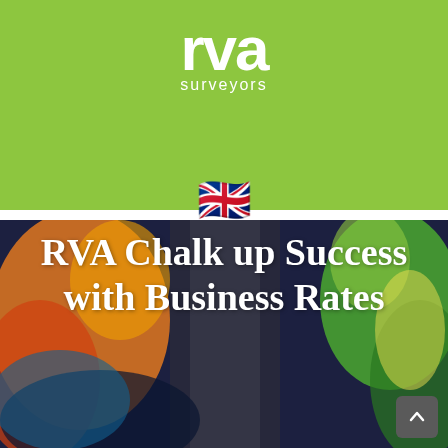[Figure (logo): RVA Surveyors logo — white text 'rva' in large bold rounded font with 'surveyors' below, on green background]
[Figure (illustration): UK flag emoji (Union Jack)]
[Figure (photo): Colourful artwork/mural photo used as background for article title]
RVA Chalk up Success with Business Rates Reduction f…